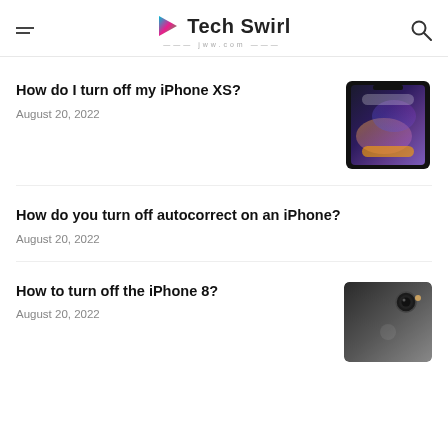Tech Swirl
How do I turn off my iPhone XS?
August 20, 2022
[Figure (photo): iPhone XS showing power-off slider screen with colorful gradient display]
How do you turn off autocorrect on an iPhone?
August 20, 2022
How to turn off the iPhone 8?
August 20, 2022
[Figure (photo): iPhone 8 lying on dark textured surface showing camera and back]